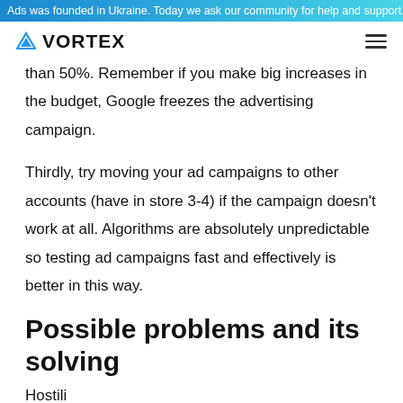Ads was founded in Ukraine. Today we ask our community for help and support. Le
VORTEX
than 50%. Remember if you make big increases in the budget, Google freezes the advertising campaign.
Thirdly, try moving your ad campaigns to other accounts (have in store 3-4) if the campaign doesn't work at all. Algorithms are absolutely unpredictable so testing ad campaigns fast and effectively is better in this way.
Possible problems and its solving
Hostili...